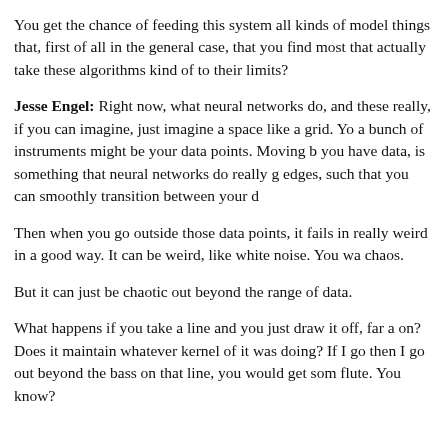You get the chance of feeding this system all kinds of model things that, first of all in the general case, that you find most that actually take these algorithms kind of to their limits?
Jesse Engel: Right now, what neural networks do, and these really, if you can imagine, just imagine a space like a grid. You a bunch of instruments might be your data points. Moving b you have data, is something that neural networks do really g edges, such that you can smoothly transition between your d
Then when you go outside those data points, it fails in really weird in a good way. It can be weird, like white noise. You wa chaos.
But it can just be chaotic out beyond the range of data.
What happens if you take a line and you just draw it off, far a on? Does it maintain whatever kernel of it was doing? If I go then I go out beyond the bass on that line, you would get som flute. You know?